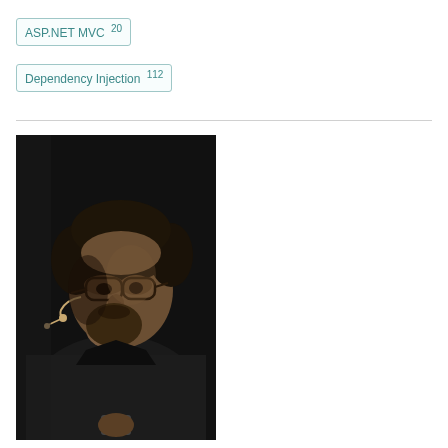ASP.NET MVC 20
Dependency Injection 112
[Figure (photo): Black and white photo of a man with glasses, beard, and a headset microphone, looking upward and to the right, wearing a dark jacket, holding something in his hand. Dark background.]